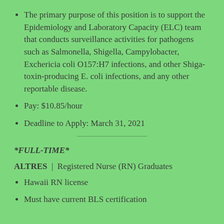The primary purpose of this position is to support the Epidemiology and Laboratory Capacity (ELC) team that conducts surveillance activities for pathogens such as Salmonella, Shigella, Campylobacter, Exchericia coli O157:H7 infections, and other Shiga-toxin-producing E. coli infections, and any other reportable disease.
Pay: $10.85/hour
Deadline to Apply: March 31, 2021
*FULL-TIME*
ALTRES | Registered Nurse (RN) Graduates
Hawaii RN license
Must have current BLS certification